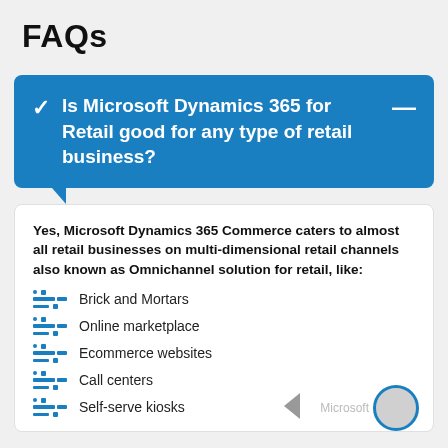FAQs
Is Microsoft Dynamics 365 for Retail good for any type of retail business?
Yes, Microsoft Dynamics 365 Commerce caters to almost all retail businesses on multi-dimensional retail channels also known as Omnichannel solution for retail, like:
Brick and Mortars
Online marketplace
Ecommerce websites
Call centers
Self-serve kiosks